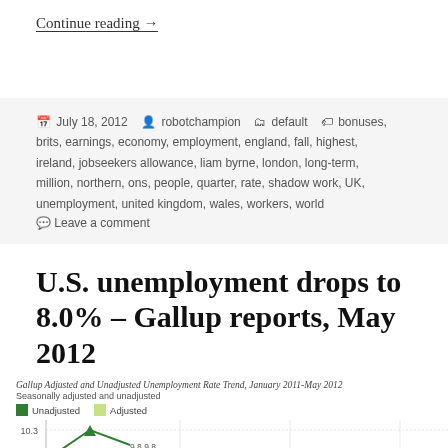Continue reading →
📅 July 18, 2012  👤 robotchampion  🗂 default  🏷 bonuses, brits, earnings, economy, employment, england, fall, highest, ireland, jobseekers allowance, liam byrne, london, long-term, million, northern, ons, people, quarter, rate, shadow work, UK, unemployment, united kingdom, wales, workers, world
Leave a comment
U.S. unemployment drops to 8.0% – Gallup reports, May 2012
Gallup Adjusted and Unadjusted Unemployment Rate Trend, January 2011-May 2012
Seasonally adjusted and unadjusted
[Figure (line-chart): Gallup Adjusted and Unadjusted Unemployment Rate Trend chart, partially visible, showing Unadjusted (dark green) and Adjusted (light green) lines, with value 10.3 visible at top and partial y-axis values 9.0 and partial x-axis]